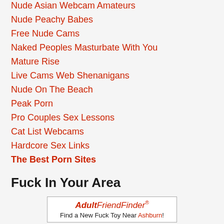Nude Asian Webcam Amateurs
Nude Peachy Babes
Free Nude Cams
Naked Peoples Masturbate With You
Mature Rise
Live Cams Web Shenanigans
Nude On The Beach
Peak Porn
Pro Couples Sex Lessons
Cat List Webcams
Hardcore Sex Links
The Best Porn Sites
Fuck In Your Area
[Figure (other): AdultFriendFinder advertisement banner with text: Find a New Fuck Toy Near Ashburn!]